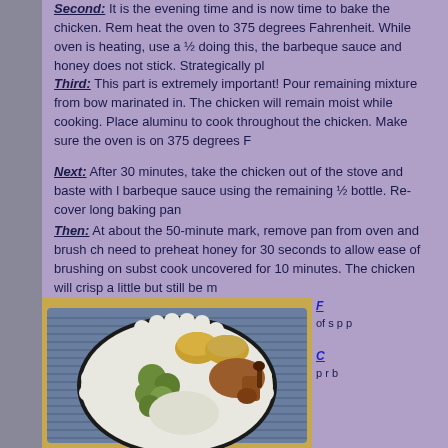Second: It is the evening time and is now time to bake the chicken. Rem heat the oven to 375 degrees Fahrenheit. While oven is heating, use a ½ doing this, the barbeque sauce and honey does not stick. Strategically pl
Third: This part is extremely important! Pour remaining mixture from bow marinated in. The chicken will remain moist while cooking. Place aluminu to cook throughout the chicken. Make sure the oven is on 375 degrees F
Next: After 30 minutes, take the chicken out of the stove and baste with I barbeque sauce using the remaining ½ bottle. Re-cover long baking pan
Then: At about the 50-minute mark, remove pan from oven and brush ch need to preheat honey for 30 seconds to allow ease of brushing on subst cook uncovered for 10 minutes. The chicken will crisp a little but still be m
[Figure (photo): A plate of food on a decorative white plate sitting on a blue striped placemat on a wooden table. The plate contains chicken drumsticks, Brussels sprouts, mashed potatoes or cauliflower, and two cornbread muffins.]
continued text on right side with links